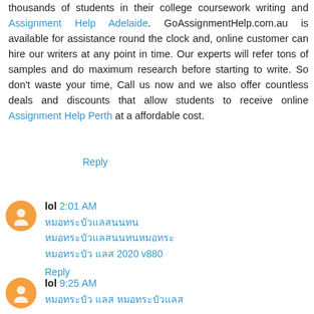thousands of students in their college coursework writing and Assignment Help Adelaide. GoAssignmentHelp.com.au is available for assistance round the clock and, online customer can hire our writers at any point in time. Our experts will refer tons of samples and do maximum research before starting to write. So don't waste your time, Call us now and we also offer countless deals and discounts that allow students to receive online Assignment Help Perth at a affordable cost.
Reply
lol 2:01 AM
Thai text line 1
Thai text line 2
Thai text line 3 2020 v880
Reply
lol 9:25 AM
Thai text line